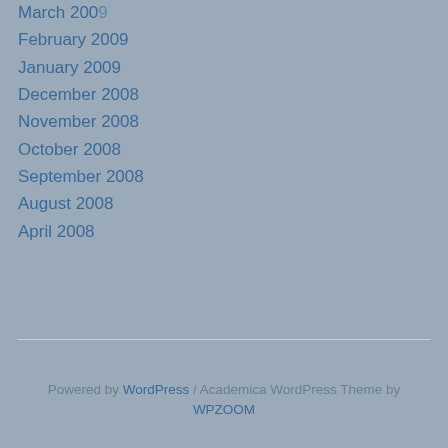March 2009
February 2009
January 2009
December 2008
November 2008
October 2008
September 2008
August 2008
April 2008
Powered by WordPress / Academica WordPress Theme by WPZOOM